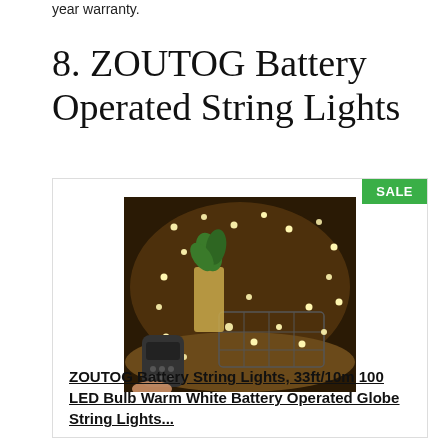year warranty.
8. ZOUTOG Battery Operated String Lights
[Figure (photo): Product photo of ZOUTOG battery operated globe string lights with warm white LEDs wrapped around a plant vase and a wire basket on a table, with a remote control held in a hand in the lower left corner. A green SALE badge is in the upper right of the card.]
ZOUTOG Battery String Lights, 33ft/10m 100 LED Bulb Warm White Battery Operated Globe String Lights...